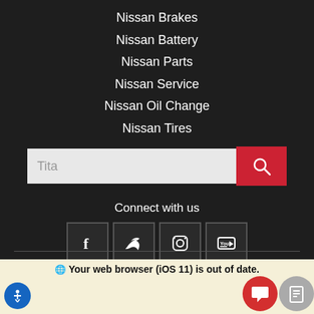Nissan Brakes
Nissan Battery
Nissan Parts
Nissan Service
Nissan Oil Change
Nissan Tires
Connect with us
[Figure (other): Social media icons: Facebook, Twitter, Instagram, YouTube]
Websites Powered By
[Figure (logo): Fox Dealer logo with stylized wings icon and text FOX DEALER]
Your web browser (iOS 11) is out of date.
Update your browser for more security, speed and the best experience on this sit
Update browser
Ignore